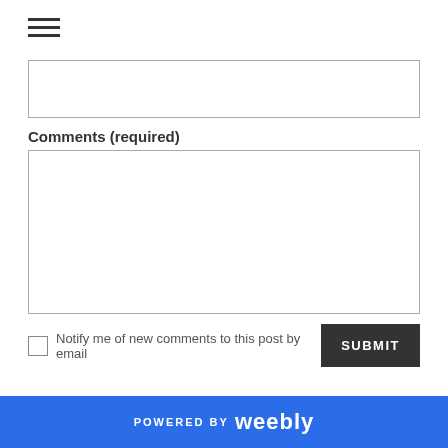[Figure (other): Hamburger menu icon (three horizontal lines)]
[Figure (other): Empty text input field (top, partially visible)]
Comments (required)
[Figure (other): Large empty textarea input field for comments]
Notify me of new comments to this post by email
SUBMIT
POWERED BY weebly